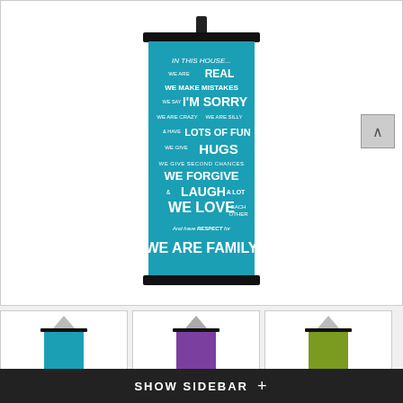[Figure (photo): A teal/turquoise fabric scroll banner hanging from a black rod, printed with white text reading: IN THIS HOUSE... WE ARE REAL WE MAKE MISTAKES WE SAY I'M SORRY WE ARE CRAZY WE ARE SILLY & HAVE LOTS OF FUN WE GIVE HUGS WE GIVE SECOND CHANCES WE FORGIVE & LAUGH A LOT WE LOVE EACH OTHER And have RESPECT for WE ARE FAMILY]
[Figure (photo): Thumbnail of teal colored scroll banner]
[Figure (photo): Thumbnail of purple colored scroll banner]
[Figure (photo): Thumbnail of green/olive colored scroll banner]
SHOW SIDEBAR +